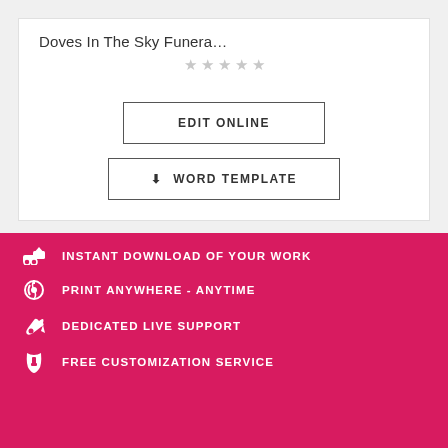Doves In The Sky Funera…
[Figure (other): 5 empty star rating icons]
EDIT ONLINE
⬇ WORD TEMPLATE
INSTANT DOWNLOAD OF YOUR WORK
PRINT ANYWHERE - ANYTIME
DEDICATED LIVE SUPPORT
FREE CUSTOMIZATION SERVICE